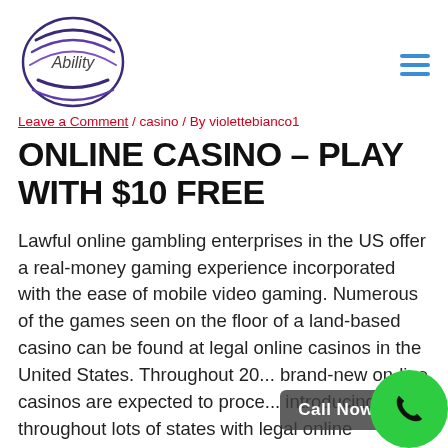[Figure (logo): Ability logo: oval shape with purple swoosh lines and text 'Ability' inside]
Leave a Comment / casino / By violettebianco1
ONLINE CASINO – PLAY WITH $10 FREE
Lawful online gambling enterprises in the US offer a real-money gaming experience incorporated with the ease of mobile video gaming. Numerous of the games seen on the floor of a land-based casino can be found at legal online casinos in the United States. Throughout 20... brand-new on-line casinos are expected to proce... introducing throughout lots of states with legal online...